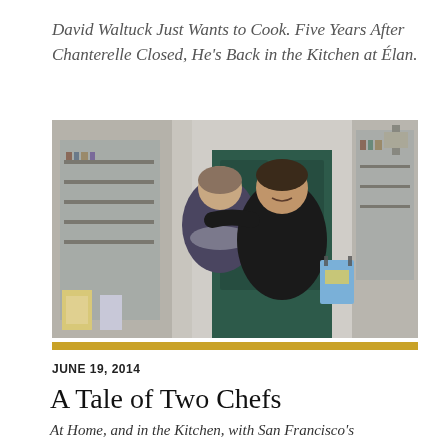David Waltuck Just Wants to Cook. Five Years After Chanterelle Closed, He's Back in the Kitchen at Élan.
[Figure (photo): Two people smiling and embracing outside a building with a green door and bookstore visible through the window. One person holds a blue shopping bag.]
JUNE 19, 2014
A Tale of Two Chefs
At Home, and in the Kitchen, with San Francisco's